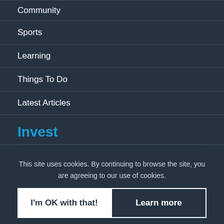Community
Sports
Learning
Things To Do
Latest Articles
Invest
Our Companies
This site uses cookies. By continuing to browse the site, you are agreeing to our use of cookies.
I'm OK with that!
Learn more